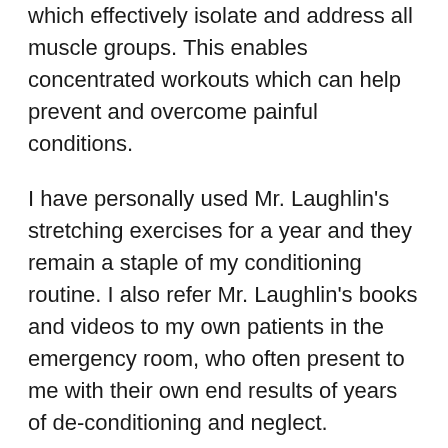which effectively isolate and address all muscle groups. This enables concentrated workouts which can help prevent and overcome painful conditions.
I have personally used Mr. Laughlin's stretching exercises for a year and they remain a staple of my conditioning routine. I also refer Mr. Laughlin's books and videos to my own patients in the emergency room, who often present to me with their own end results of years of de-conditioning and neglect.
Eric Roter MD – Kaiser Permanente Cleveland Heights, OH, USA